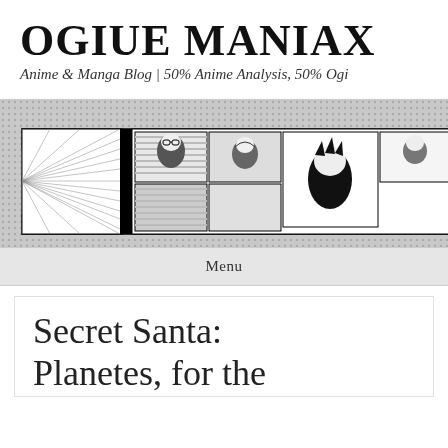OGIUE MANIAX
Anime & Manga Blog | 50% Anime Analysis, 50% Ogi
[Figure (illustration): Manga-style banner image showing the Ogiue Maniax blog header. Features a halftone dotted background, manga panels with anime-style characters including Ogiue, and the word MANIAX in bold stylized lettering on the right side.]
Menu
Secret Santa: Planetes, for the